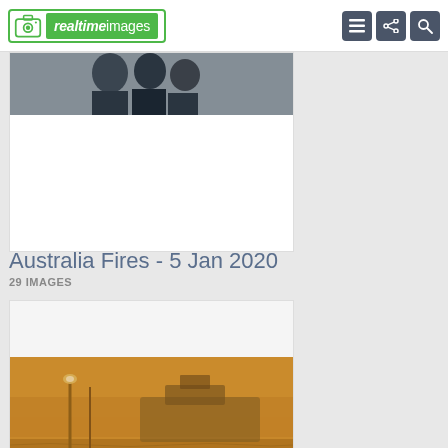[Figure (logo): Realtime Images logo with camera icon and green background]
[Figure (photo): Partially visible photo cropped at top of first card, appears to show people]
Australia Fires - 5 Jan 2020
29 IMAGES
[Figure (photo): Photo of a large ship (ferry or cruise ship) barely visible through thick orange/amber smoke haze, with a lamp post in the foreground and water in the background]